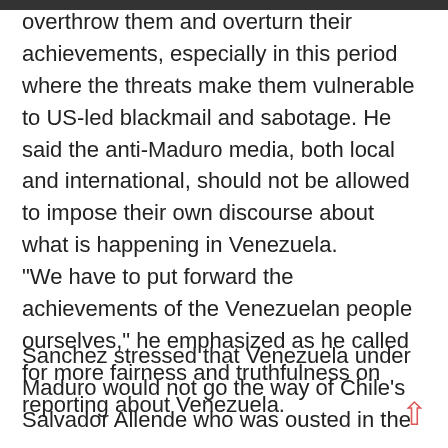overthrow them and overturn their achievements, especially in this period where the threats make them vulnerable to US-led blackmail and sabotage. He said the anti-Maduro media, both local and international, should not be allowed to impose their own discourse about what is happening in Venezuela. “We have to put forward the achievements of the Venezuelan people ourselves,” he emphasized as he called for more fairness and truthfulness on reporting about Venezuela.
Sanchez stressed that Venezuela under Maduro would not go the way of Chile’s Salvador Allende who was ousted in the